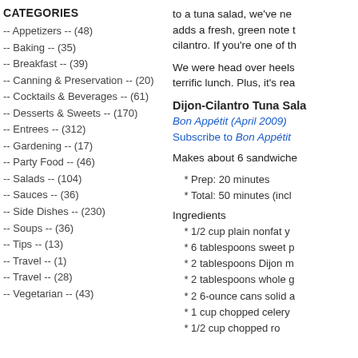CATEGORIES
-- Appetizers -- (48)
-- Baking -- (35)
-- Breakfast -- (39)
-- Canning & Preservation -- (20)
-- Cocktails & Beverages -- (61)
-- Desserts & Sweets -- (170)
-- Entrees -- (312)
-- Gardening -- (17)
-- Party Food -- (46)
-- Salads -- (104)
-- Sauces -- (36)
-- Side Dishes -- (230)
-- Soups -- (36)
-- Tips -- (13)
-- Travel -- (1)
-- Travel -- (28)
-- Vegetarian -- (43)
to a tuna salad, we've ne... adds a fresh, green note t... cilantro. If you're one of th...
We were head over heels... terrific lunch. Plus, it's rea...
Dijon-Cilantro Tuna Sala...
Bon Appétit (April 2009)
Subscribe to Bon Appétit
Makes about 6 sandwiche...
* Prep: 20 minutes
* Total: 50 minutes (incl...
Ingredients
* 1/2 cup plain nonfat y...
* 6 tablespoons sweet p...
* 2 tablespoons Dijon m...
* 2 tablespoons whole g...
* 2 6-ounce cans solid a...
* 1 cup chopped celery
* 1/2 cup chopped ro...